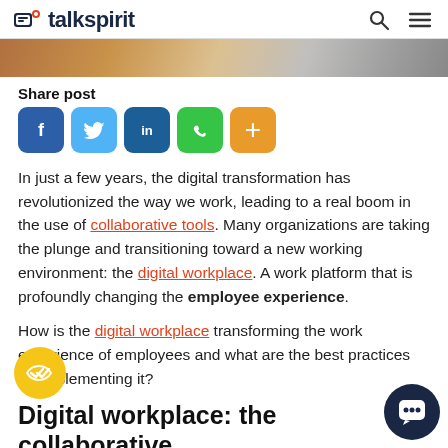talkspirit
[Figure (photo): Partial view of a person working on a laptop, cropped header image]
Share post
[Figure (infographic): Social share buttons: Facebook, Twitter, LinkedIn, WhatsApp, More]
In just a few years, the digital transformation has revolutionized the way we work, leading to a real boom in the use of collaborative tools. Many organizations are taking the plunge and transitioning toward a new working environment: the digital workplace. A work platform that is profoundly changing the employee experience.
How is the digital workplace transforming the work experience of employees and what are the best practices for implementing it?
Digital workplace: the collaborative